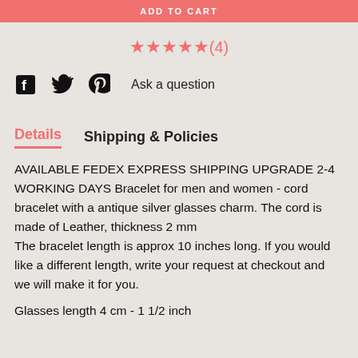ADD TO CART
★★★★★(4)
[Figure (infographic): Social share icons: Facebook, Twitter, Pinterest, and 'Ask a question' link]
Details   Shipping & Policies
AVAILABLE FEDEX EXPRESS SHIPPING UPGRADE 2-4 WORKING DAYS Bracelet for men and women - cord bracelet with a antique silver glasses charm. The cord is made of Leather, thickness 2 mm
The bracelet length is approx 10 inches long. If you would like a different length, write your request at checkout and we will make it for you.
Glasses length 4 cm - 1 1/2 inch